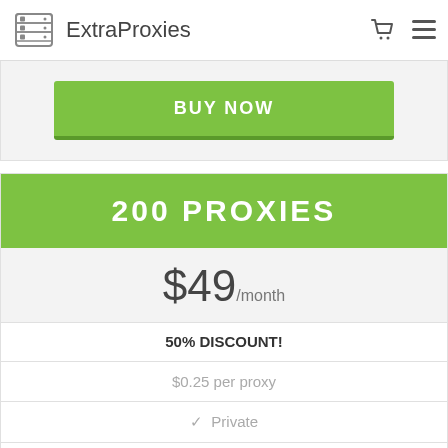ExtraProxies
BUY NOW
200 PROXIES
$49/month
50% DISCOUNT!
$0.25 per proxy
✓ Private
✓ Elite
✓ Anonymous